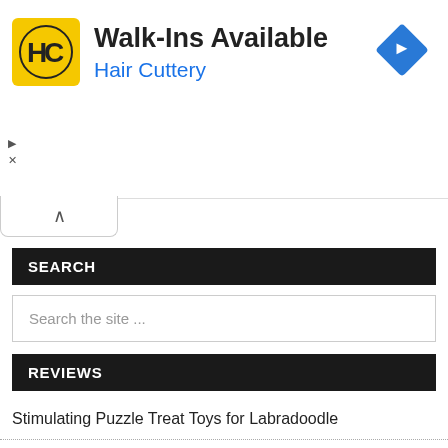[Figure (logo): Hair Cuttery advertisement banner with HC logo in yellow square, text 'Walk-Ins Available' and 'Hair Cuttery' in blue, blue diamond navigation icon on right]
SEARCH
Search the site ...
REVIEWS
Stimulating Puzzle Treat Toys for Labradoodle
Best Dog Carries Backpacks